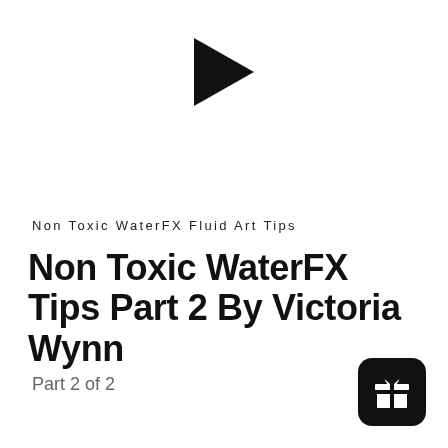[Figure (illustration): Black solid right-pointing play button triangle icon centered near top of page]
Non Toxic WaterFX Fluid Art Tips
Non Toxic WaterFX Tips Part 2 By Victoria Wynn
Part 2 of 2
[Figure (illustration): Black rounded square icon with a white gift/present box icon inside, positioned bottom right corner]